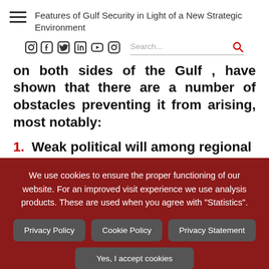Features of Gulf Security in Light of a New Strategic Environment
on both sides of the Gulf , have shown that there are a number of obstacles preventing it from arising, most notably:
1. Weak political will among regional
We use cookies to ensure the proper functioning of our website. For an improved visit experience we use analysis products. These are used when you agree with "Statistics".
Privacy Policy
Cookie Policy
Privacy Statement
Yes, I accept cookies